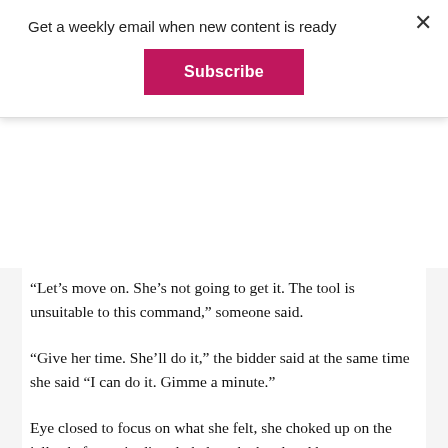Get a weekly email when new content is ready
Subscribe
“Let’s move on. She’s not going to get it. The tool is unsuitable to this command,” someone said.
“Give her time. She’ll do it,” the bidder said at the same time she said “I can do it. Gimme a minute.”
Eye closed to focus on what she felt, she choked up on the jelly shaft to grip directly below the head and have more control over it. More lubrication, more patience. She almost got it, the head slipping aside. Every time she tried, she got a better idea of her